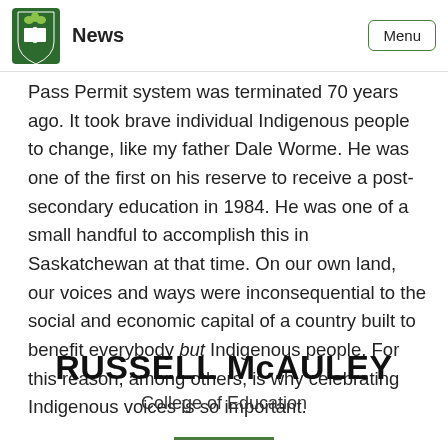News | Menu
Pass Permit system was terminated 70 years ago. It took brave individual Indigenous people to change, like my father Dale Worme. He was one of the first on his reserve to receive a post-secondary education in 1984. He was one of a small handful to accomplish this in Saskatchewan at that time. On our own land, our voices and ways were inconsequential to the social and economic capital of a country built to benefit everybody but Indigenous people. For this reason, among others, is why celebrating Indigenous voices is so important.
RUSSELL McAULEY
College of Education